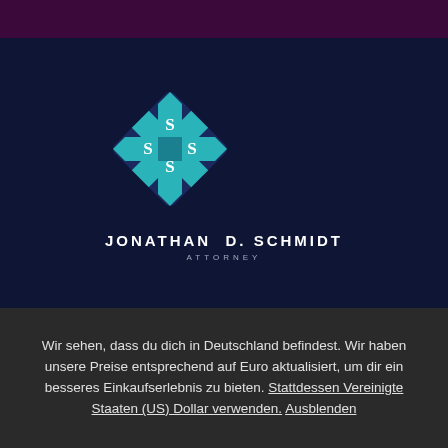[Figure (logo): Jonathan D. Schmidt Attorney logo — a diamond-shaped emblem with teal cross band and stylized white lettering, with firm name JONATHAN D. SCHMIDT and subtitle ATTORNEY below]
Wir sehen, dass du dich in Deutschland befindest. Wir haben unsere Preise entsprechend auf Euro aktualisiert, um dir ein besseres Einkaufserlebnis zu bieten. Stattdessen Vereinigte Staaten (US) Dollar verwenden. Ausblenden